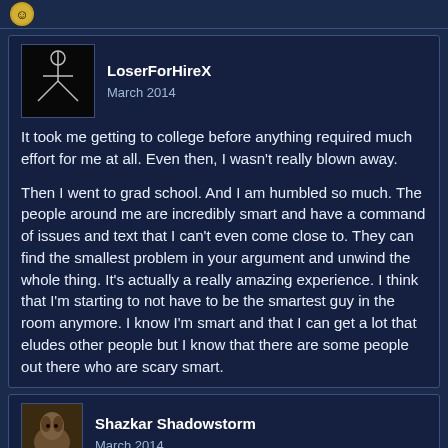[Figure (illustration): Small emoji/avatar icon at top of page]
LoserForHireX
March 2014
It took me getting to college before anything required much effort for me at all. Even then, I wasn't really blown away.

Then I went to grad school. And I am humbled so much. The people around me are incredibly smart and have a command of issues and text that I can't even come close to. They can find the smallest problem in your argument and unwind the whole thing. It's actually a really amazing experience. I think that I'm starting to not have to be the smartest guy in the room anymore. I know I'm smart and that I can get a lot that eludes other people but I know that there are some people out there who are scary smart.
Shazkar Shadowstorm
March 2014